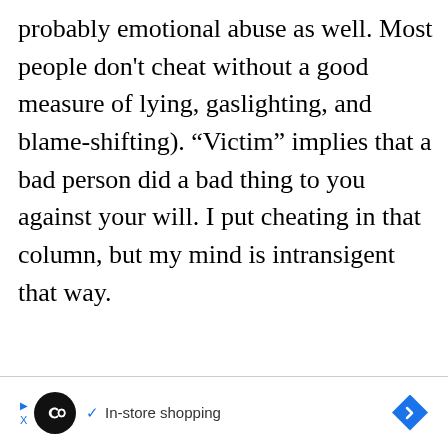probably emotional abuse as well. Most people don't cheat without a good measure of lying, gaslighting, and blame-shifting). “Victim” implies that a bad person did a bad thing to you against your will. I put cheating in that column, but my mind is intransigent that way.
[Figure (other): Advertisement banner at the bottom of the page showing an infinity loop icon in a black circle, a blue checkmark, the text 'In-store shopping', a blue play triangle, a blue X, and a blue diamond arrow icon on the right.]